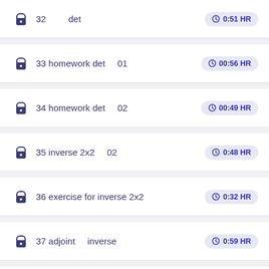6  32  det  0:51 HR
6  33 homework det  01  00:56 HR
6  34 homework det  02  00:49 HR
6  35 inverse 2x2  02  0:48 HR
6  36 exercise for inverse 2x2  0:32 HR
6  37 adjoint  inverse  0:59 HR
6  38  inverse  0:17 HR